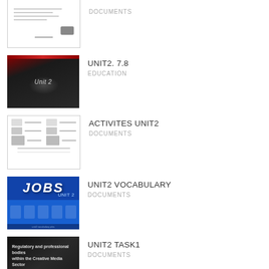[Figure (screenshot): Thumbnail of a document page with text lines and small image]
DOCUMENTS
[Figure (screenshot): Dark presentation slide with red gradient top and Unit 2 text]
UNIT2. 7.8
EDUCATION
[Figure (screenshot): Document page with activities layout showing images and text columns]
ACTIVITES UNIT2
DOCUMENTS
[Figure (screenshot): Blue slide with JOBS text banner and icon row for Unit 2 vocabulary]
UNIT2 VOCABULARY
DOCUMENTS
[Figure (screenshot): Dark presentation slide about regulatory and professional bodies in Creative Media]
UNIT2 TASK1
DOCUMENTS
[Figure (screenshot): Partial blue thumbnail at bottom of page]